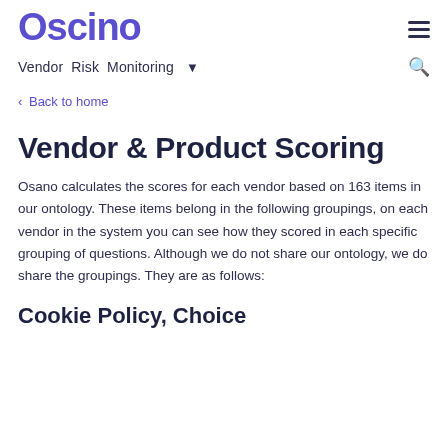Oscino
Vendor Risk Monitoring ▾
< Back to home
Vendor & Product Scoring
Osano calculates the scores for each vendor based on 163 items in our ontology. These items belong in the following groupings, on each vendor in the system you can see how they scored in each specific grouping of questions. Although we do not share our ontology, we do share the groupings. They are as follows:
Cookie Policy, Choice